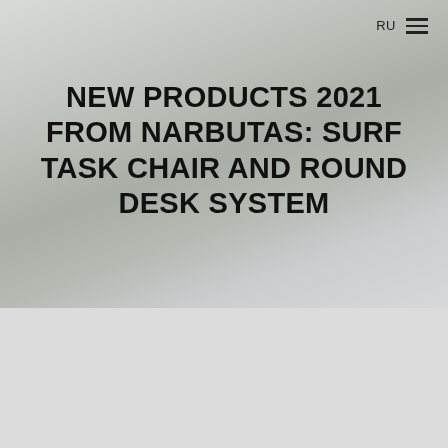RU ☰
NEW PRODUCTS 2021 FROM NARBUTAS: SURF TASK CHAIR AND ROUND DESK SYSTEM
[Figure (illustration): Lower grey section background — plain light grey rectangle at the bottom of the page]